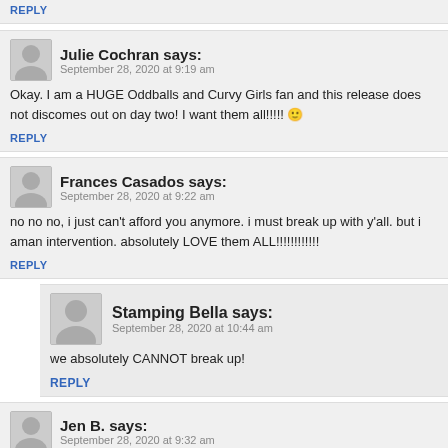REPLY
Julie Cochran says:
September 28, 2020 at 9:19 am
Okay. I am a HUGE Oddballs and Curvy Girls fan and this release does not dis... comes out on day two! I want them all!!!!! 🙂
REPLY
Frances Casados says:
September 28, 2020 at 9:22 am
no no no, i just can't afford you anymore. i must break up with y'all. but i am... an intervention. absolutely LOVE them ALL!!!!!!!!!!!!
REPLY
Stamping Bella says:
September 28, 2020 at 10:44 am
we absolutely CANNOT break up!
REPLY
Jen B. says:
September 28, 2020 at 9:32 am
This cannot ST, friday, hockey should be an intervention, the h...